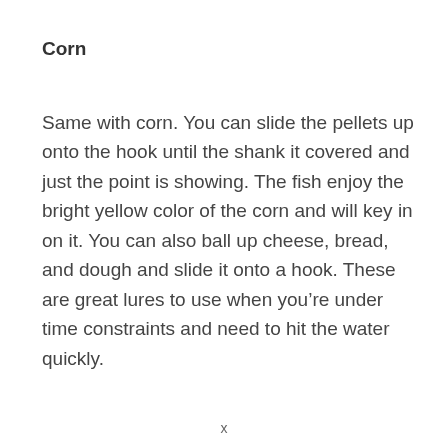Corn
Same with corn. You can slide the pellets up onto the hook until the shank it covered and just the point is showing. The fish enjoy the bright yellow color of the corn and will key in on it. You can also ball up cheese, bread, and dough and slide it onto a hook. These are great lures to use when you’re under time constraints and need to hit the water quickly.
x